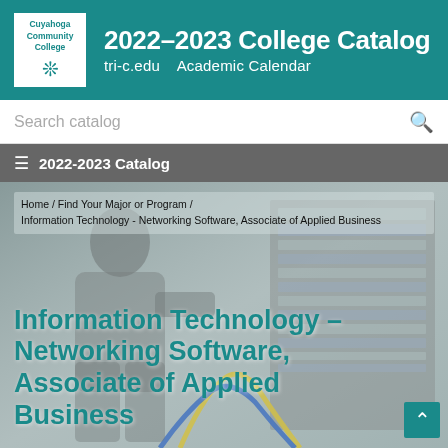2022–2023 College Catalog  tri-c.edu  Academic Calendar
Search catalog
≡  2022-2023 Catalog
Home / Find Your Major or Program / Information Technology - Networking Software, Associate of Applied Business
Information Technology – Networking Software, Associate of Applied Business
[Figure (photo): A person working with networking cables in a server rack room, viewed from the side]